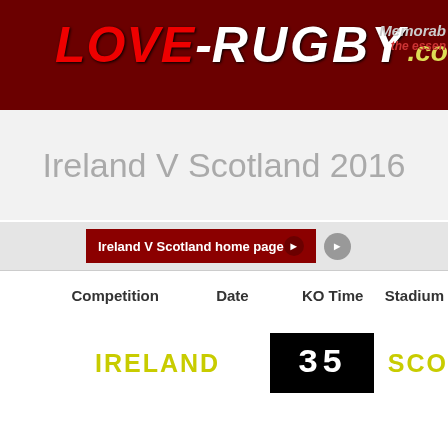LOVE-RUGBY.com Memorabilia the essen
Ireland V Scotland 2016
Ireland V Scotland home page
| Competition | Date | KO Time | Stadium |
| --- | --- | --- | --- |
IRELAND   35   SCO